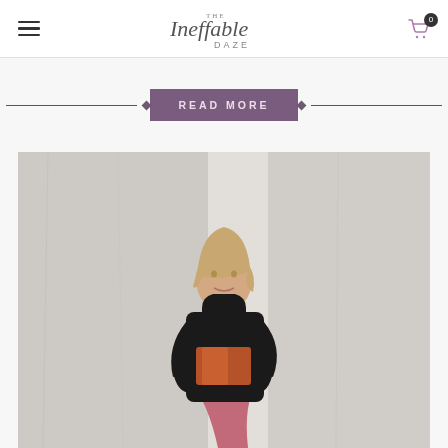The Ineffable Daze — navigation header with hamburger menu, logo, and cart icon showing 0 items
READ MORE
[Figure (photo): A woman with blonde hair wearing a black turtleneck sweater and pink skirt, holding an orange/brown clutch bag, standing against a concrete wall]